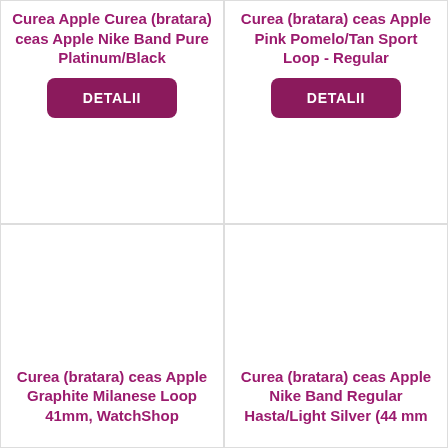Curea Apple Curea (bratara) ceas Apple Nike Band Pure Platinum/Black
DETALII
Curea (bratara) ceas Apple Pink Pomelo/Tan Sport Loop - Regular
DETALII
Curea (bratara) ceas Apple Graphite Milanese Loop 41mm, WatchShop
Curea (bratara) ceas Apple Nike Band Regular Hasta/Light Silver (44 mm